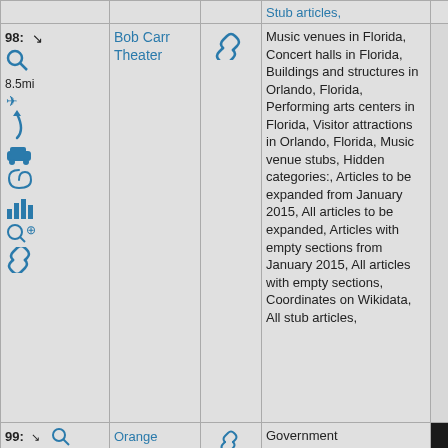| #/Distance/Actions | Name | Link | Categories | Extra |
| --- | --- | --- | --- | --- |
| 98: 8.5mi [icons] | Bob Carr Theater | [link icon] | Music venues in Florida, Concert halls in Florida, Buildings and structures in Orlando, Florida, Performing arts centers in Florida, Visitor attractions in Orlando, Florida, Music venue stubs, Hidden categories:, Articles to be expanded from January 2015, All articles to be expanded, Articles with empty sections from January 2015, All articles with empty sections, Coordinates on Wikidata, All stub articles, |  |
| 99: [partial] | Orange [partial] | [link icon] | Government [partial] |  |